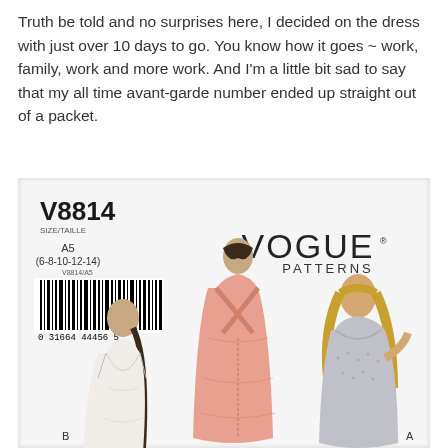Truth be told and no surprises here, I decided on the dress with just over 10 days to go. You know how it goes ~ work, family, work and more work. And I'm a little bit sad to say that my all time avant-garde number ended up straight out of a packet.
[Figure (photo): Photo of a Vogue Patterns sewing pattern envelope V8814, size A5 (6-8-10-12-14), showing three illustrated fashion figures wearing different versions of a fitted dress. The pattern has a barcode reading 0 31664 44456 5. The figures are labeled B (left, white dress with deep V front), C (center, pink/coral dress shown from the back with cross-back straps), and A (right, grey/silver patterned dress with scoop neck).]